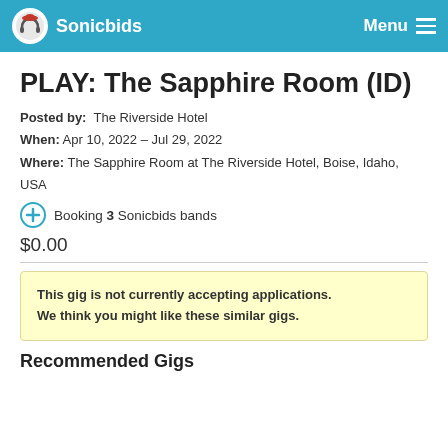Sonicbids   Menu
PLAY: The Sapphire Room (ID)
Posted by:  The Riverside Hotel
When: Apr 10, 2022 – Jul 29, 2022
Where: The Sapphire Room at The Riverside Hotel, Boise, Idaho, USA
Booking 3 Sonicbids bands
$0.00
This gig is not currently accepting applications. We think you might like these similar gigs.
Recommended Gigs